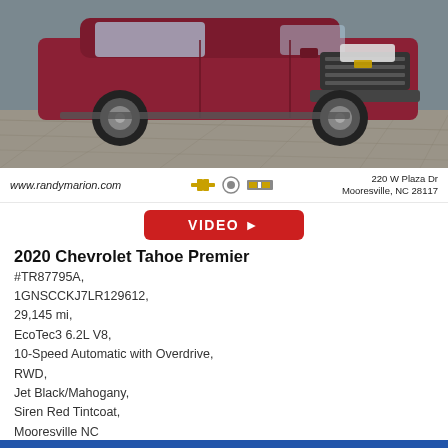[Figure (photo): Photo of a 2020 Chevrolet Tahoe Premier in Siren Red Tintcoat, front three-quarter view, parked on a stone/paved surface with a grey background.]
www.randymarion.com   220 W Plaza Dr Mooresville, NC 28117
[Figure (logo): Chevrolet, Buick, and Cadillac brand logos]
[Figure (other): VIDEO play button (red rounded rectangle)]
2020 Chevrolet Tahoe Premier
#TR87795A,
1GNSCCKJ7LR129612,
29,145 mi,
EcoTec3 6.2L V8,
10-Speed Automatic with Overdrive,
RWD,
Jet Black/Mahogany,
Siren Red Tintcoat,
Mooresville NC
King of Price: $57,988